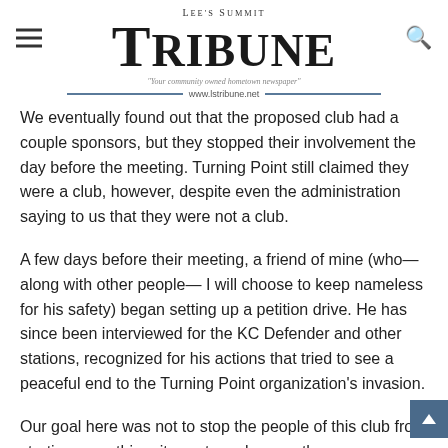Lee's Summit Tribune | www.lstribune.net
We eventually found out that the proposed club had a couple sponsors, but they stopped their involvement the day before the meeting. Turning Point still claimed they were a club, however, despite even the administration saying to us that they were not a club.
A few days before their meeting, a friend of mine (who—along with other people— I will choose to keep nameless for his safety) began setting up a petition drive. He has since been interviewed for the KC Defender and other stations, recognized for his actions that tried to see a peaceful end to the Turning Point organization's invasion.
Our goal here was not to stop the people of this club from starting something, it was to make sure there was no Turning Point affiliation. The members went to the…